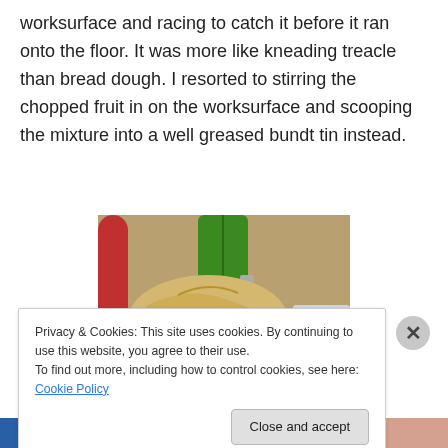worksurface and racing to catch it before it ran onto the floor. It was more like kneading treacle than bread dough. I resorted to stirring the chopped fruit in on the worksurface and scooping the mixture into a well greased bundt tin instead.
[Figure (photo): Photo of someone kneading or handling pale dough on a surface, with a green bag visible in the background along with a red object.]
Privacy & Cookies: This site uses cookies. By continuing to use this website, you agree to their use.
To find out more, including how to control cookies, see here: Cookie Policy
Close and accept